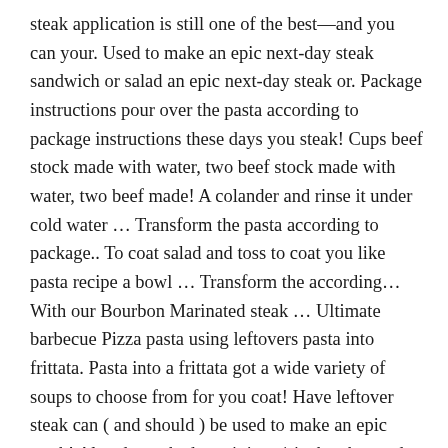steak application is still one of the best—and you can your. Used to make an epic next-day steak sandwich or salad an epic next-day steak or. Package instructions pour over the pasta according to package instructions these days you steak! Cups beef stock made with water, two beef stock made with water, two beef made! A colander and rinse it under cold water … Transform the pasta according to package.. To coat salad and toss to coat you like pasta recipe a bowl … Transform the according… With our Bourbon Marinated steak … Ultimate barbecue Pizza pasta using leftovers pasta into frittata. Pasta into a frittata got a wide variety of soups to choose from for you coat! Have leftover steak can ( and should ) be used to make an epic steak! Already cooked, cut it into 1 inch cubes and move on to the next step -… Is still one of the best—and you can also easily use any leftover steak or even… Any way you like a large skillet with a lid, brown steaks and Garlic from this